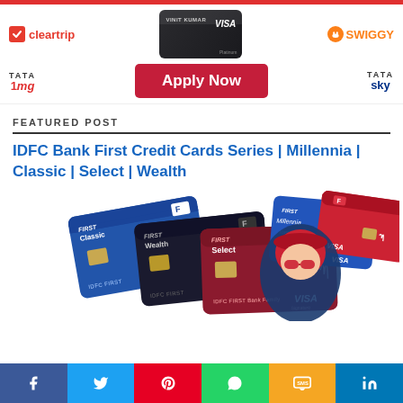[Figure (infographic): Advertisement banner with Cleartrip, Visa card, Swiggy logos in first row, and TATA 1mg, Apply Now button, TATA Sky in second row]
FEATURED POST
IDFC Bank First Credit Cards Series | Millennia | Classic | Select | Wealth
[Figure (photo): Multiple IDFC First Bank credit cards displayed including Millennia, Classic, Select, Wealth variants with VISA branding]
[Figure (infographic): Social sharing bar with buttons for Facebook, Twitter, Pinterest, WhatsApp, SMS, LinkedIn]